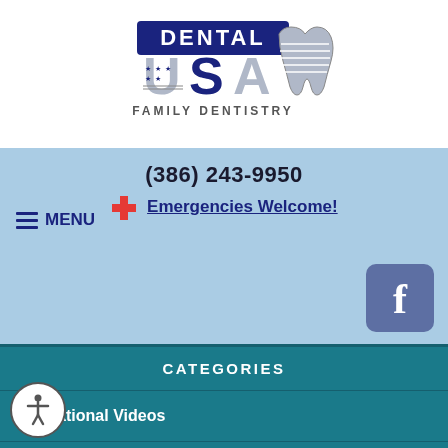[Figure (logo): Dental USA Family Dentistry logo with American flag-themed lettering and tooth icon]
(386) 243-9950
Emergencies Welcome!
≡ MENU
[Figure (logo): Facebook icon button]
CATEGORIES
Educational Videos
Cosmetic & General Dentistry
Emergency Care